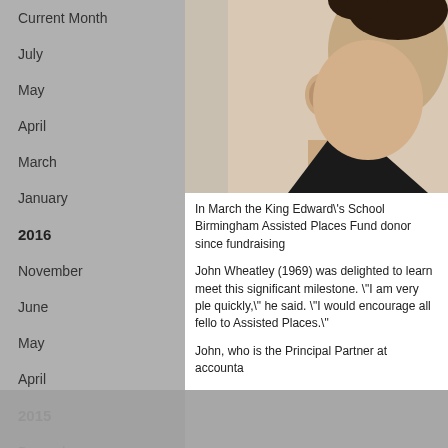Current Month
July
May
April
March
January
2016
November
June
May
April
2015
December
[Figure (photo): Close-up photo of a man in a dark suit, showing profile/side of face]
In March the King Edward\'s School Birmingham Assisted Places Fund donor since fundraising
John Wheatley (1969) was delighted to learn meet this significant milestone. "I am very ple quickly," he said. "I would encourage all fello to Assisted Places."
John, who is the Principal Partner at accounta
We use cookies to improve your experience of our site. By continuing to browse the site you are agreeing to our use of cookies.
CONTINUE